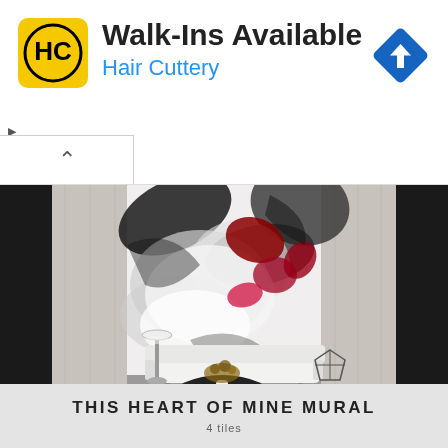[Figure (screenshot): Advertisement banner for Hair Cuttery salon. Shows HC logo on yellow background, text 'Walk-Ins Available' in large bold font and 'Hair Cuttery' in blue below it. A blue navigation/directions diamond icon is in the top right. Small play and close (X) icons on the left side.]
[Figure (photo): Interior room scene showing a modern living space with a large abstract art mural on the wall featuring swirling black, white, and red/pink paint strokes. In front of the mural is a white curved sofa with a black round coffee table, a white vase with dried flowers, a floor lamp on the left, and a geometric wire lantern on the right. The room has gray concrete-look pillars on either side and gray flooring.]
THIS HEART OF MINE MURAL
4 tiles